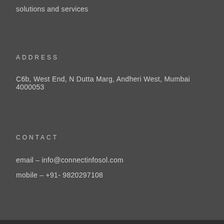solutions and services
ADDRESS
C6b, West End, N Dutta Marg, Andheri West, Mumbai 4000053
CONTACT
email – info@connectinfosol.com
mobile – +91- 9820297108